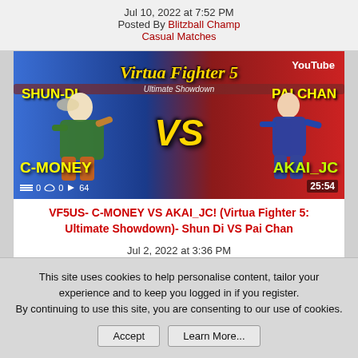Jul 10, 2022 at 7:52 PM
Posted By Blitzball Champ
Casual Matches
[Figure (screenshot): YouTube video thumbnail for Virtua Fighter 5: Ultimate Showdown match between C-MONEY (Shun Di) vs AKAI_JC (Pai Chan). Duration 25:54, shows 0 likes, 64 views.]
VF5US- C-MONEY VS AKAI_JC! (Virtua Fighter 5: Ultimate Showdown)- Shun Di VS Pai Chan
Jul 2, 2022 at 3:36 PM
Posted By Cmoney
Casual Matches
This site uses cookies to help personalise content, tailor your experience and to keep you logged in if you register.
By continuing to use this site, you are consenting to our use of cookies.